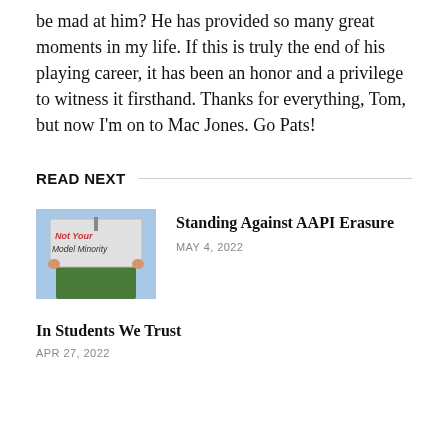be mad at him? He has provided so many great moments in my life. If this is truly the end of his playing career, it has been an honor and a privilege to witness it firsthand. Thanks for everything, Tom, but now I'm on to Mac Jones. Go Pats!
READ NEXT
[Figure (photo): Person holding a sign reading 'Not Your Model Minority']
Standing Against AAPI Erasure
MAY 4, 2022
In Students We Trust
APR 27, 2022